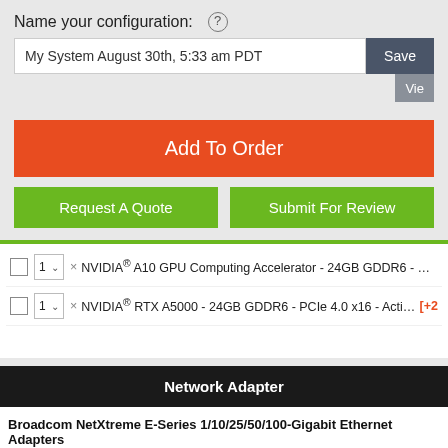Name your configuration: ?
My System August 30th, 5:33 am PDT
Add To Order
Request A Quote
Submit For Review
× NVIDIA® A10 GPU Computing Accelerator - 24GB GDDR6 - PCIe 4.0 x16 - Passive...
× NVIDIA® RTX A5000 - 24GB GDDR6 - PCIe 4.0 x16 - Active Cooling (4xDP) [+2]
Network Adapter
Broadcom NetXtreme E-Series 1/10/25/50/100-Gigabit Ethernet Adapters
× Broadcom NetXtreme 1-Gigabit Ethernet Network Adapter - PCIe 2.0 x1 - 2x R...
× Broadcom NetXtreme 1-Gigabit Ethernet Network Adapter - PCIe 2.0 x4 - 4x R...